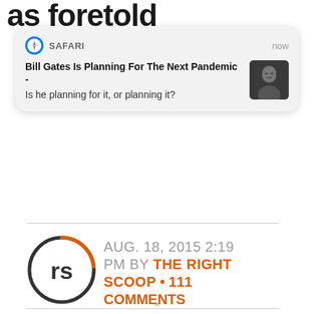as foretold
the BIBLE
[Figure (screenshot): iOS Safari push notification card showing: SAFARI | now | Bill Gates Is Planning For The Next Pandemic - | Is he planning for it, or planning it? | With a small photo of Bill Gates on the right.]
[Figure (logo): The Right Scoop 'rs' logo - circular with dark grey and orange arc]
AUG. 18, 2015 2:19 PM BY THE RIGHT SCOOP • 111 COMMENTS